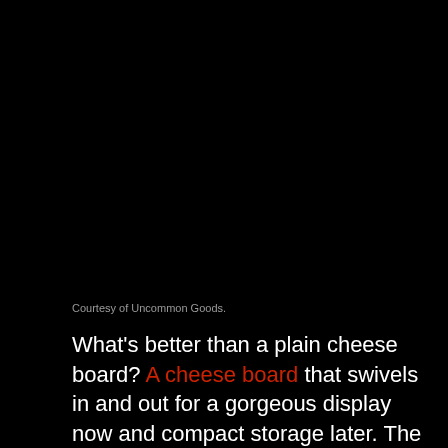[Figure (photo): Dark/black background image area occupying the upper portion of the page, likely a product photo of a cheese board from Uncommon Goods.]
Courtesy of Uncommon Goods.
What's better than a plain cheese board? A cheese board that swivels in and out for a gorgeous display now and compact storage later. The multi-level sections help organize your cheese display and the storage drawer for cheese knives is a nice touch.